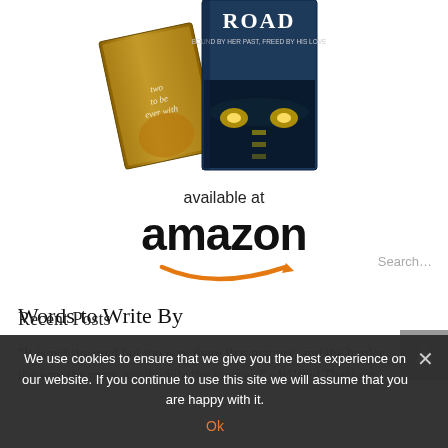[Figure (illustration): Two book covers displayed together: a gold/brown book and a blue book with truck headlights titled 'ROAD', subtitle text 'BOUND BY HER PAST, FREED BY HIS LOVE']
[Figure (logo): Amazon logo with 'available at' text above and orange arrow-smile below large bold 'amazon' text]
Words to Write By
“It is not the goal but the way there that matters, and the harder the way the more worthwhile the journey.” ~Wilfred Thesiger
We use cookies to ensure that we give you the best experience on our website. If you continue to use this site we will assume that you are happy with it.
Ok
Recent Posts